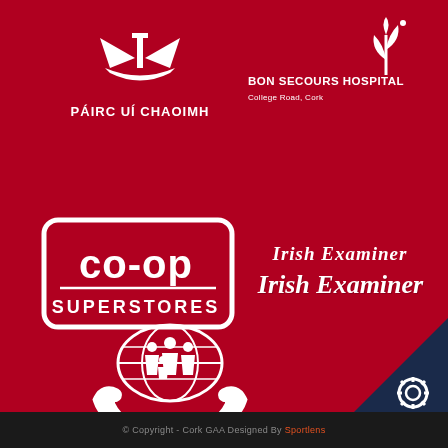[Figure (logo): Páirc Uí Chaoimh logo — white stylized stadium/boat shape icon above text PÁIRC UÍ CHAOIMH in white uppercase letters on red background]
[Figure (logo): Bon Secours Hospital logo — white stylized plant/flower icon above text BON SECOURS HOSPITAL and subtitle College Road, Cork in white on red background]
[Figure (logo): Co-op Superstores logo — white rounded rectangle border containing 'co-op' in large lowercase letters and 'SUPERSTORES' in uppercase below, on red background]
[Figure (logo): Irish Examiner logo — blackletter/Old English style white text reading 'Irish Examiner' on red background]
[Figure (logo): Cork Credit Unions logo — white hands holding a globe with family silhouettes, text 'corkcreditunions.ie' below in white on red background]
© Copyright - Cork GAA Designed By Sportlens